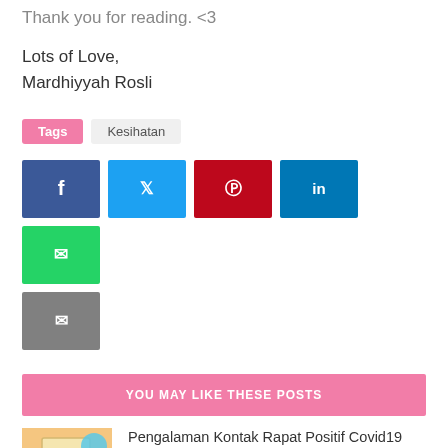Thank you for reading. <3
Lots of Love,
Mardhiyyah Rosli
Tags   Kesihatan
[Figure (infographic): Social media share buttons: Facebook (dark blue), Twitter (light blue), Pinterest (red), LinkedIn (dark blue), WhatsApp (green), Email (gray)]
YOU MAY LIKE THESE POSTS
[Figure (photo): Thumbnail image for Pengalaman Kontak Rapat Positif Covid19 post - beige/yellow background with notebook illustration and blue circles]
Pengalaman Kontak Rapat Positif Covid19
OCTOBER 27, 2021
[Figure (photo): Thumbnail image for Simptom dan Punca Berlakunya Resdung post - pink background with pill/medicine illustrations and text]
Simptom dan Punca Berlakunya Resdung
JULY 20, 2021